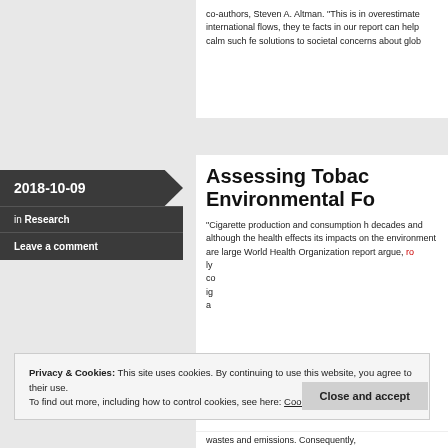co-authors, Steven A. Altman. “This is in overestimate international flows, they te facts in our report can help calm such fe solutions to societal concerns about glob
2018-10-09
in Research
Leave a comment
Assessing Tobacco Environmental Fo
“Cigarette production and consumption h decades and although the health effects its impacts on the environment are large World Health Organization report argue,
Privacy & Cookies: This site uses cookies. By continuing to use this website, you agree to their use. To find out more, including how to control cookies, see here: Cookie Policy
Close and accept
wastes and emissions. Consequently,